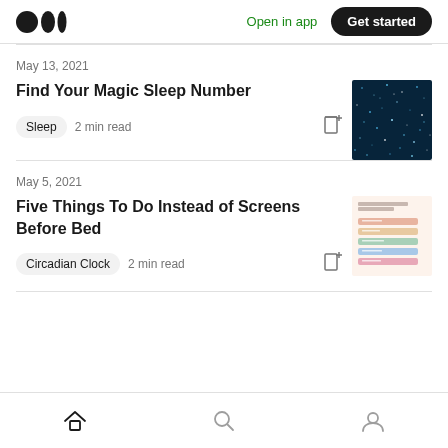Medium logo | Open in app | Get started
May 13, 2021
Find Your Magic Sleep Number
Sleep   2 min read
[Figure (photo): Dark starry night sky thumbnail image]
May 5, 2021
Five Things To Do Instead of Screens Before Bed
Circadian Clock   2 min read
[Figure (infographic): Pastel colored list infographic thumbnail for Five Things To Do Instead of Screens Before Bed]
Home | Search | Profile navigation icons